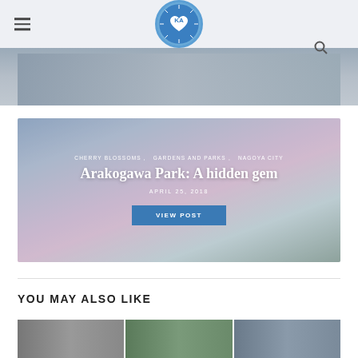KA blog logo with hamburger menu and search icon
[Figure (photo): Partial image at top, appears to be a sketch or illustration, dark tones]
[Figure (photo): Cherry blossom park scene at Arakogawa Park with river and pink blossoms]
CHERRY BLOSSOMS , GARDENS AND PARKS , NAGOYA CITY
Arakogawa Park: A hidden gem
APRIL 25, 2018
VIEW POST
YOU MAY ALSO LIKE
[Figure (photo): Three thumbnail images at bottom for related posts]